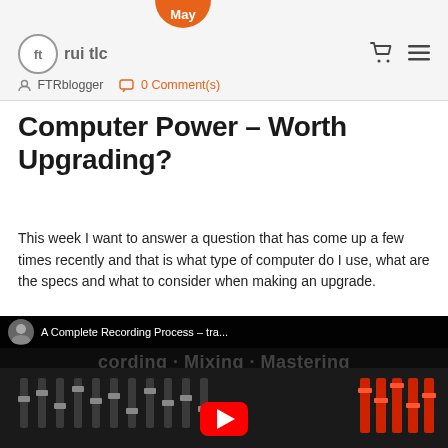May | FTRblogger | 0 Comment(s)
Computer Power – Worth Upgrading?
This week I want to answer a question that has come up a few times recently and that is what type of computer do I use, what are the specs and what to consider when making an upgrade.
read more
[Figure (screenshot): YouTube video thumbnail showing a mixing console/audio board with text 'Recording · Mixing · Mastering' and video title 'A Complete Recording Process – tra...']